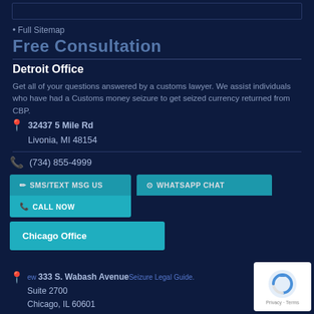• Full Sitemap
Free Consultation
Detroit Office
Get all of your questions answered by a customs lawyer. We assist individuals who have had a Customs money seizure to get seized currency returned from CBP.
32437 5 Mile Rd
Livonia, MI 48154
(734) 855-4999
SMS/TEXT MSG US
WHATSAPP CHAT
CALL NOW
GOOGLE CHAT
Chicago Office
333 S. Wabash Avenue
Suite 2700
Chicago, IL 60601